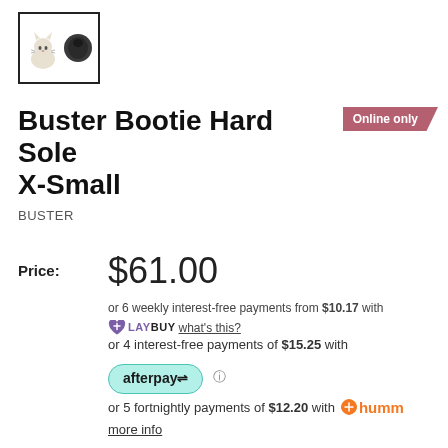[Figure (photo): Product thumbnail image showing a cat and a round black boot sole, in a bordered box]
Buster Bootie Hard Sole X-Small
Online only
BUSTER
Price: $61.00
or 6 weekly interest-free payments from $10.17 with LAYBUY what's this?
or 4 interest-free payments of $15.25 with afterpay
or 5 fortnightly payments of $12.20 with humm
more info